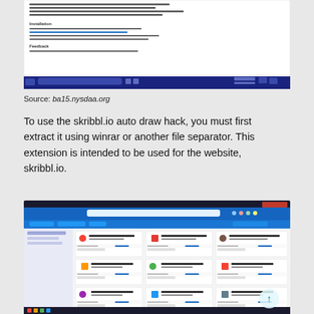[Figure (screenshot): Screenshot of a webpage showing installation instructions for a browser extension, with a browser toolbar at the bottom. White background with text sections including 'Installation' and 'Feedback'.]
Source: ba15.nysdaa.org
To use the skribbl.io auto draw hack, you must first extract it using winrar or another file separator. This extension is intended to be used for the website, skribbl.io.
[Figure (screenshot): Screenshot of a browser extensions management page showing multiple extension cards in a grid layout. The page has a blue header bar. Extensions include Opera, and others displayed in a 3-column grid.]